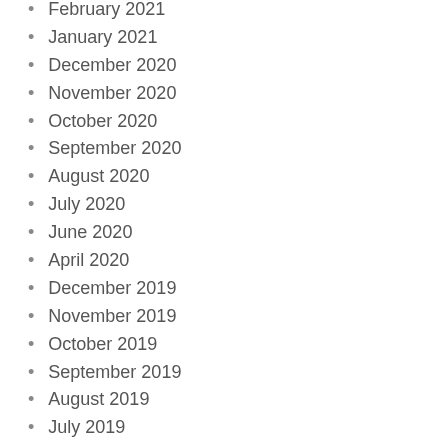February 2021
January 2021
December 2020
November 2020
October 2020
September 2020
August 2020
July 2020
June 2020
April 2020
December 2019
November 2019
October 2019
September 2019
August 2019
July 2019
May 2019
March 2019
February 2019
January 2019
December 2018
November 2018